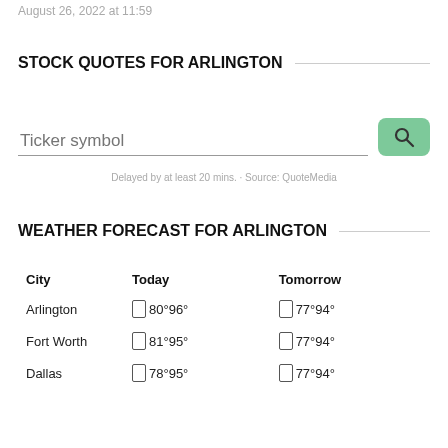August 26, 2022 at 11:59
STOCK QUOTES FOR ARLINGTON
Ticker symbol
Delayed by at least 20 mins. · Source: QuoteMedia
WEATHER FORECAST FOR ARLINGTON
| City | Today | Tomorrow |
| --- | --- | --- |
| Arlington | □ 80°96° | □ 77°94° |
| Fort Worth | □ 81°95° | □ 77°94° |
| Dallas | □ 78°95° | □ 77°94° |